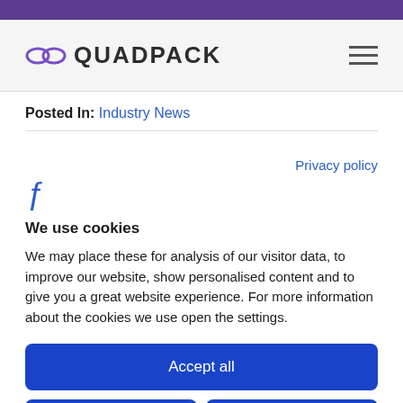QUADPACK
Posted In: Industry News
Privacy policy
We use cookies
We may place these for analysis of our visitor data, to improve our website, show personalised content and to give you a great website experience. For more information about the cookies we use open the settings.
Accept all
Deny
No, adjust